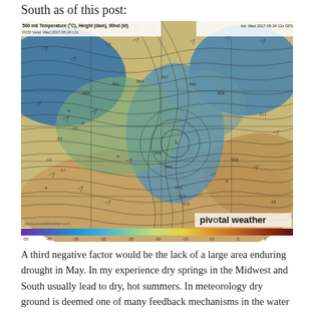South as of this post:
[Figure (map): 500 mb Temperature (°C), Height (dam), Wind (kt) weather map showing F030 Valid Wed 2017-05-24 12z, initialized Wed 2017-05-24 12z GFS. Color-coded temperature map of North America with contour lines and wind barbs, showing a cold trough (blue) over the central/eastern US and warm air (brown/tan) over the south and west. Source: www.pivotalweather.com, labeled 'pivotal weather'.]
A third negative factor would be the lack of a large area enduring drought in May. In my experience dry springs in the Midwest and South usually lead to dry, hot summers. In meteorology dry ground is deemed one of many feedback mechanisms in the water cycle. "Pop up", cooling storms are